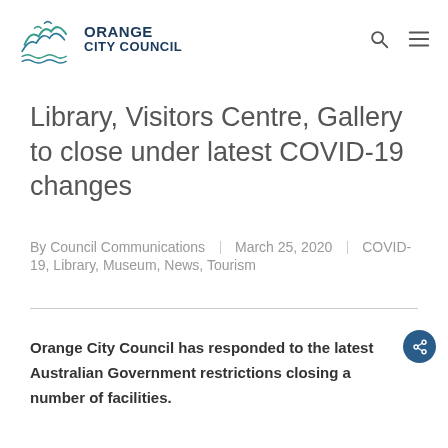Orange City Council
Library, Visitors Centre, Gallery to close under latest COVID-19 changes
By Council Communications | March 25, 2020 | COVID-19, Library, Museum, News, Tourism
Orange City Council has responded to the latest Australian Government restrictions closing a number of facilities.